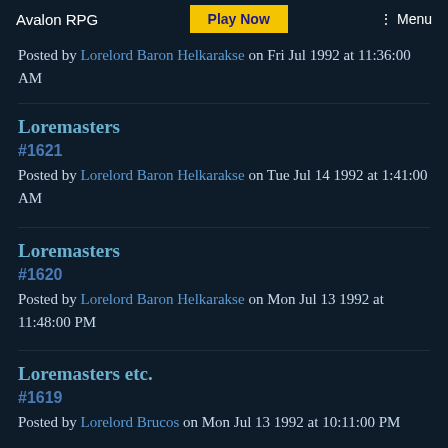Avalon RPG  Play Now  Menu
Posted by Lorelord Baron Helkarakse on Fri Jul 1992 at 11:36:00 AM
Loremasters
#1621
Posted by Lorelord Baron Helkarakse on Tue Jul 14 1992 at 1:41:00 AM
Loremasters
#1620
Posted by Lorelord Baron Helkarakse on Mon Jul 13 1992 at 11:48:00 PM
Loremasters etc.
#1619
Posted by Lorelord Brucos on Mon Jul 13 1992 at 10:11:00 PM